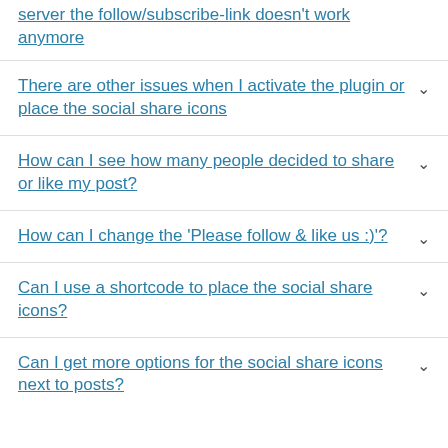server the follow/subscribe-link doesn't work anymore
There are other issues when I activate the plugin or place the social share icons
How can I see how many people decided to share or like my post?
How can I change the 'Please follow & like us :)'?
Can I use a shortcode to place the social share icons?
Can I get more options for the social share icons next to posts?